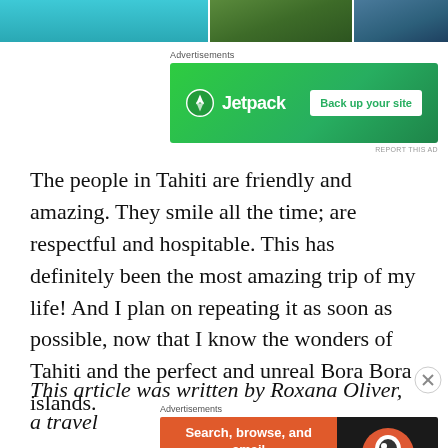[Figure (photo): Three thumbnail images showing tropical scenes: cyan water, green foliage, dark blue water/sky]
[Figure (screenshot): Jetpack advertisement banner with green background, Jetpack logo and 'Back up your site' button]
The people in Tahiti are friendly and amazing. They smile all the time; are respectful and hospitable. This has definitely been the most amazing trip of my life! And I plan on repeating it as soon as possible, now that I know the wonders of Tahiti and the perfect and unreal Bora Bora islands.
This article was written by Roxana Oliver, a travel
[Figure (screenshot): DuckDuckGo advertisement: 'Search, browse, and email with more privacy. All in One Free App' with DuckDuckGo logo on dark background]